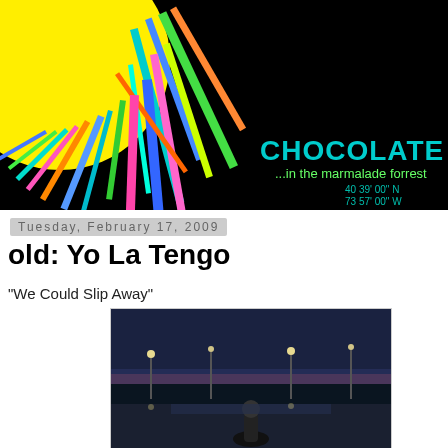[Figure (illustration): Blog header image: black background with a yellow sun in the upper left corner and colorful rectangular rays (teal, blue, green, orange, pink, yellow) radiating outward. Text on the right reads 'CHOCOLATE BOBKA' in teal/cyan bold font, below that '...in the marmalade forrest' in green, and coordinates '40 39' 00" N / 73 57' 00" W' in small teal text.]
Tuesday, February 17, 2009
old: Yo La Tengo
"We Could Slip Away"
[Figure (photo): Outdoor nighttime photo showing a person in the foreground against a dark blue sky with street lights and trees in the background.]